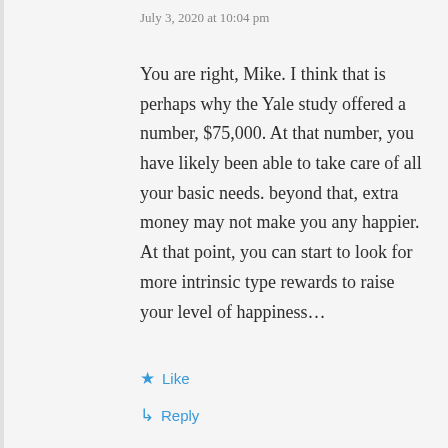July 3, 2020 at 10:04 pm
You are right, Mike. I think that is perhaps why the Yale study offered a number, $75,000. At that number, you have likely been able to take care of all your basic needs. beyond that, extra money may not make you any happier. At that point, you can start to look for more intrinsic type rewards to raise your level of happiness…
Like
Reply